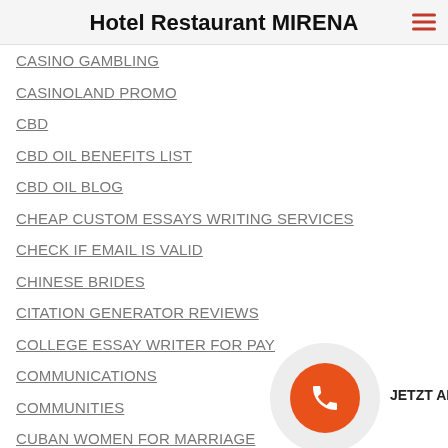Hotel Restaurant MIRENA
CASINO GAMBLING
CASINOLAND PROMO
CBD
CBD OIL BENEFITS LIST
CBD OIL BLOG
CHEAP CUSTOM ESSAYS WRITING SERVICES
CHECK IF EMAIL IS VALID
CHINESE BRIDES
CITATION GENERATOR REVIEWS
COLLEGE ESSAY WRITER FOR PAY
COMMUNICATIONS
COMMUNITIES
CUBAN WOMEN FOR MARRIAGE
CUSTOM WRITING HELP
DATING CHINESE WOMEN
DATING SITES FOR LESBIAN
DATINGBLOG
DEBATE TOPICS
DHARMA DATES
DISSERTATION HELP ONLINE
JETZT ANRUFEN